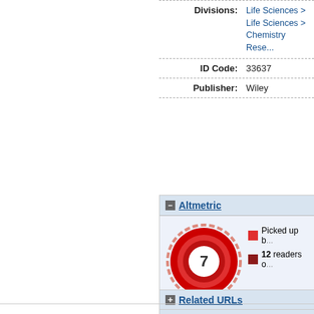| Label | Value |
| --- | --- |
| Divisions: | Life Sciences > ...
Life Sciences > ...
Chemistry Rese... |
| ID Code: | 33637 |
| Publisher: | Wiley |
− Altmetric
[Figure (donut-chart): Altmetric donut chart showing score of 7 in center, red donut ring, legend showing picked up by and 12 readers]
View details on Altmetric's website
+ Related URLs
+ Deposit Details